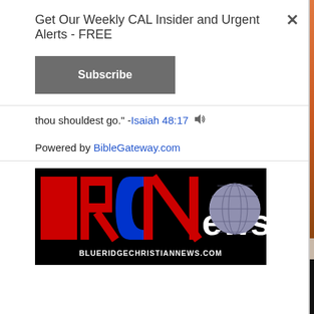Get Our Weekly CAL Insider and Urgent Alerts - FREE
Subscribe
thou shouldest go." -Isaiah 48:17 🔊
Powered by BibleGateway.com
[Figure (logo): Blue Ridge Christian News (BRCN) logo with red, white, and blue letters on black background. BLUERIDGECHRISTIANNEWS.COM shown at bottom.]
Copyright © 2022 Christian Action League of North Carolina, Inc · Web Design by OptimusMedia.com · Log in